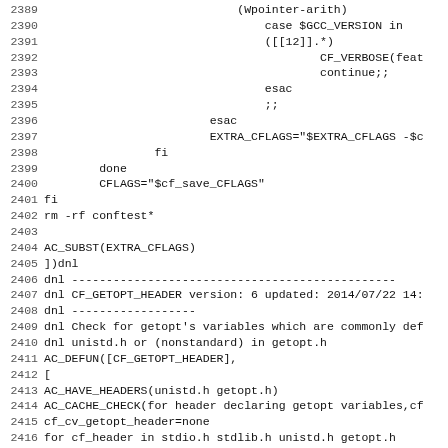Code listing lines 2389-2420, autoconf/m4 script source code